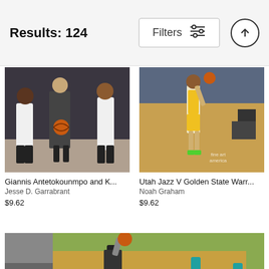Results: 124
Filters
[Figure (photo): Three basketball players in white uniforms with a man in suit holding a basketball, posed for a photo shoot]
Giannis Antetokounmpo and K...
Jesse D. Garrabrant
$9.62
[Figure (photo): Golden State Warriors player driving to the basket during a game against the Utah Jazz, with fans and photographers in background, Fine Art America watermark]
Utah Jazz V Golden State Warr...
Noah Graham
$9.62
[Figure (photo): Basketball player going up for a layup on a court with teal-uniformed players and crowd in background, partial view]